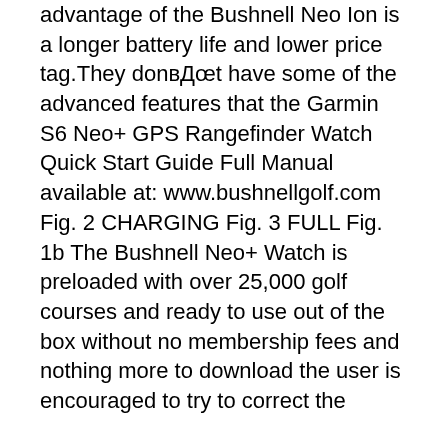advantage of the Bushnell Neo Ion is a longer battery life and lower price tag.They donвЂ™t have some of the advanced features that the Garmin S6 Neo+ GPS Rangefinder Watch Quick Start Guide Full Manual available at: www.bushnellgolf.com Fig. 2 CHARGING Fig. 3 FULL Fig. 1b The Bushnell Neo+ Watch is preloaded with over 25,000 golf courses and ready to use out of the box without no membership fees and nothing more to download the user is encouraged to try to correct the
Bushnell Excel GPS Watch Revealed. Bushnell Golf, one of the leaders in electronic measuring devices in the sport, has unveiled the new Excel Golf